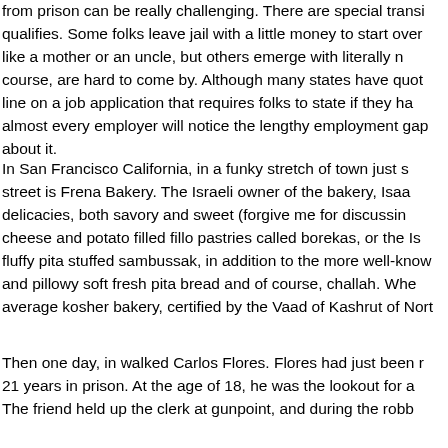from prison can be really challenging. There are special transi qualifies. Some folks leave jail with a little money to start over like a mother or an uncle, but others emerge with literally n course, are hard to come by. Although many states have quot line on a job application that requires folks to state if they ha almost every employer will notice the lengthy employment gap about it.
In San Francisco California, in a funky stretch of town just s street is Frena Bakery. The Israeli owner of the bakery, Isaa delicacies, both savory and sweet (forgive me for discussin cheese and potato filled fillo pastries called borekas, or the Is fluffy pita stuffed sambussak, in addition to the more well-know and pillowy soft fresh pita bread and of course, challah. Whe average kosher bakery, certified by the Vaad of Kashrut of Nort
Then one day, in walked Carlos Flores. Flores had just been r 21 years in prison. At the age of 18, he was the lookout for a The friend held up the clerk at gunpoint, and during the robb